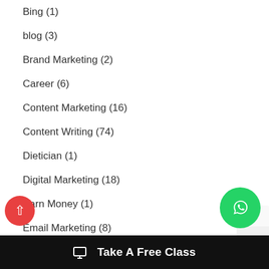Bing (1)
blog (3)
Brand Marketing (2)
Career (6)
Content Marketing (16)
Content Writing (74)
Dietician (1)
Digital Marketing (18)
Earn Money (1)
Email Marketing (8)
Entrepreneurship (1)
Take A Free Class